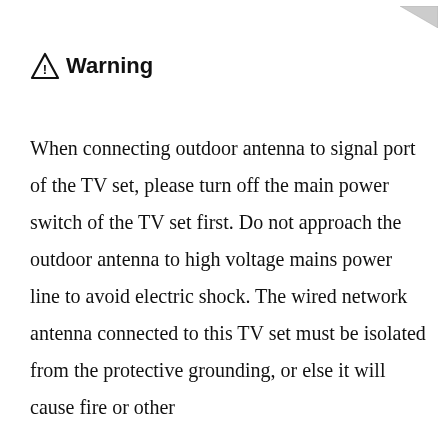[Figure (other): Corner fold or page mark in top right corner]
⚠ Warning
When connecting outdoor antenna to signal port of the TV set, please turn off the main power switch of the TV set first. Do not approach the outdoor antenna to high voltage mains power line to avoid electric shock. The wired network antenna connected to this TV set must be isolated from the protective grounding, or else it will cause fire or other hazard. HOK UHD 43A BU B1 B...